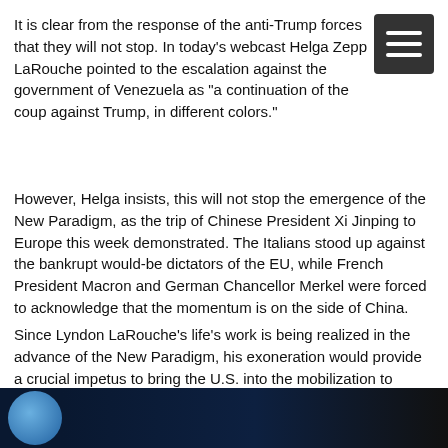It is clear from the response of the anti-Trump forces that they will not stop. In today's webcast Helga Zepp LaRouche pointed to the escalation against the government of Venezuela as "a continuation of the coup against Trump, in different colors."
However, Helga insists, this will not stop the emergence of the New Paradigm, as the trip of Chinese President Xi Jinping to Europe this week demonstrated. The Italians stood up against the bankrupt would-be dictators of the EU, while French President Macron and German Chancellor Merkel were forced to acknowledge that the momentum is on the side of China.
Since Lyndon LaRouche's life's work is being realized in the advance of the New Paradigm, his exoneration would provide a crucial impetus to bring the U.S. into the mobilization to realize the common interests of mankind.
[Figure (photo): Dark blue banner/video thumbnail strip at the bottom with a circular logo on the left side against a dark navy and black background]